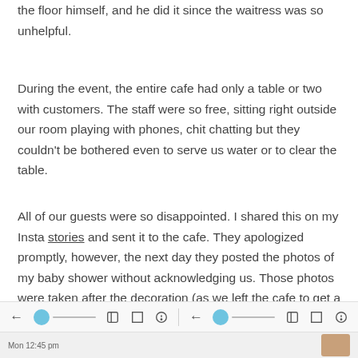the floor himself, and he did it since the waitress was so unhelpful.
During the event, the entire cafe had only a table or two with customers. The staff were so free, sitting right outside our room playing with phones, chit chatting but they couldn't be bothered even to serve us water or to clear the table.
All of our guests were so disappointed. I shared this on my Insta stories and sent it to the cafe. They apologized promptly, however, the next day they posted the photos of my baby shower without acknowledging us. Those photos were taken after the decoration (as we left the cafe to get a quick shower) and before the arrival of guests.
Mon 12:45 pm